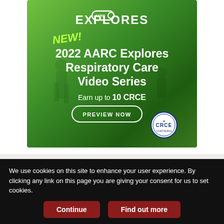[Figure (illustration): Green advertisement banner for 2022 AARC Explores Respiratory Care Video Series. Shows 'NEW!' in yellow-green italic text, AARC Explores logo at top, bold white title text '2022 AARC Explores Respiratory Care Video Series', text 'Earn up to 10 CRCE', a 'PREVIEW NOW' button outline, and a CRCE badge. Background shows silhouetted figures in a clinical setting.]
Info For
We use cookies on this site to enhance your user experience. By clicking any link on this page you are giving your consent for us to set cookies.